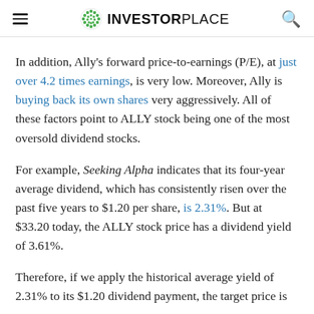InvestorPlace
In addition, Ally's forward price-to-earnings (P/E), at just over 4.2 times earnings, is very low. Moreover, Ally is buying back its own shares very aggressively. All of these factors point to ALLY stock being one of the most oversold dividend stocks.
For example, Seeking Alpha indicates that its four-year average dividend, which has consistently risen over the past five years to $1.20 per share, is 2.31%. But at $33.20 today, the ALLY stock price has a dividend yield of 3.61%.
Therefore, if we apply the historical average yield of 2.31% to its $1.20 dividend payment, the target price is